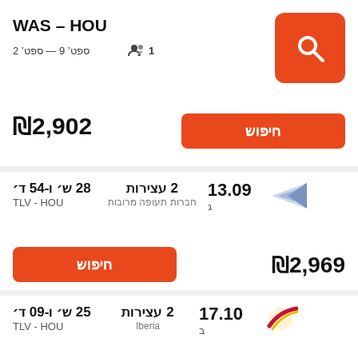WAS – HOU | 2 ספט' — 9 ספט' | 1 passenger
₪2,902 | חיפוש
13.09 ב | 2 עצירות | חברות תעופה מרובות | TLV - HOU | 28 ש' ו-54 ד' | ₪2,969 | חיפוש
17.10 ב | 2 עצירות | Iberia | TLV - HOU | 25 ש' ו-09 ד' | ₪2,992 | חיפוש
07.09 | 2 עצירות | 29 ש' ו-49 ד'